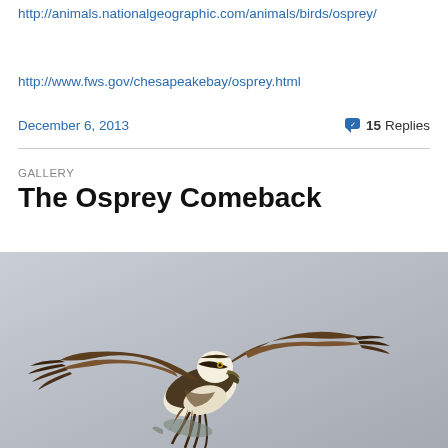http://animals.nationalgeographic.com/animals/birds/osprey/
http://www.fws.gov/chesapeakebay/osprey.html
December 6, 2013    💬 15 Replies
GALLERY
The Osprey Comeback
[Figure (photo): Photograph of an osprey bird in flight with wings spread against a grey background, carrying what appears to be prey in its talons.]